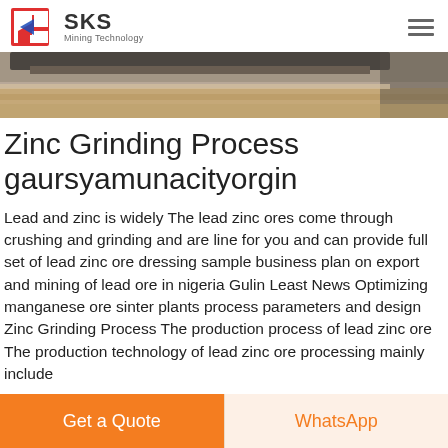SKS Mining Technology
[Figure (photo): Partial view of machinery or industrial equipment on a wooden surface, top portion of a product image]
Zinc Grinding Process gaursyamunacityorgin
Lead and zinc is widely The lead zinc ores come through crushing and grinding and are line for you and can provide full set of lead zinc ore dressing sample business plan on export and mining of lead ore in nigeria Gulin Least News Optimizing manganese ore sinter plants process parameters and design Zinc Grinding Process The production process of lead zinc ore The production technology of lead zinc ore processing mainly include
Get a Quote   WhatsApp